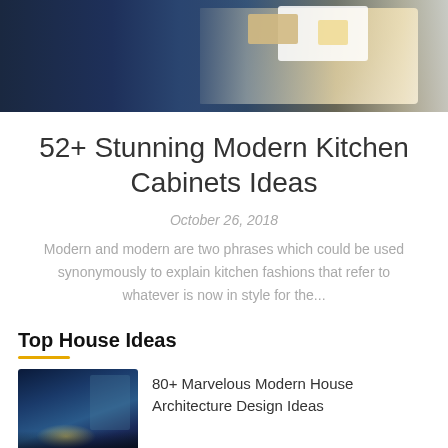[Figure (photo): Kitchen interior with dark navy blue cabinets and a dining table set with croissants and coffee cups]
52+ Stunning Modern Kitchen Cabinets Ideas
October 26, 2018
Modern and modern are two phrases which could be used synonymously to explain kitchen fashions that refer to whatever is now in style for the...
Top House Ideas
80+ Marvelous Modern House Architecture Design Ideas